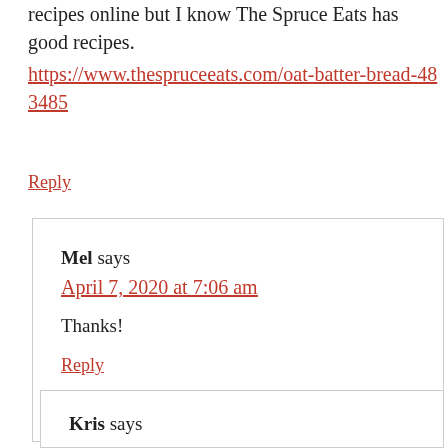recipes online but I know The Spruce Eats has good recipes. https://www.thespruceeats.com/oat-batter-bread-483485
Reply
Mel says
April 7, 2020 at 7:06 am
Thanks!
Reply
Kris says